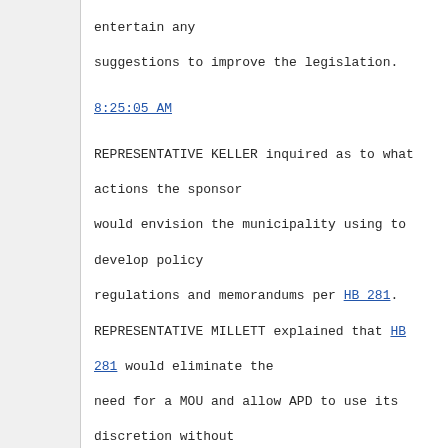REPRESENTATIVE MILLETT said that she would entertain any suggestions to improve the legislation.
8:25:05 AM
REPRESENTATIVE KELLER inquired as to what actions the sponsor would envision the municipality using to develop policy regulations and memorandums per HB 281.
REPRESENTATIVE MILLETT explained that HB 281 would eliminate the need for a MOU and allow APD to use its discretion without calling ADF&G.
8:26:15 AM